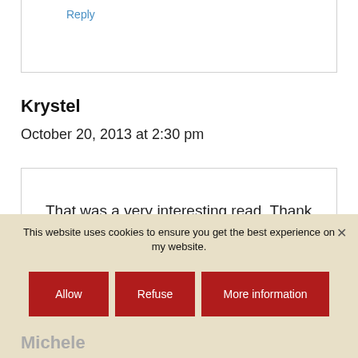Reply
Krystel
October 20, 2013 at 2:30 pm
That was a very interesting read. Thank you for sharing it.
Reply
This website uses cookies to ensure you get the best experience on my website.
Allow
Refuse
More information
Michele